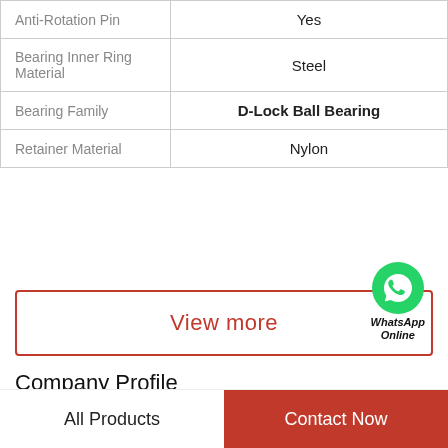| Property | Value |
| --- | --- |
| Anti-Rotation Pin | Yes |
| Bearing Inner Ring Material | Steel |
| Bearing Family | D-Lock Ball Bearing |
| Retainer Material | Nylon |
View more
[Figure (logo): WhatsApp green phone icon with WhatsApp Online label]
Company Profile
China 608rs Bearing Supplier
All Products  |  Contact Now